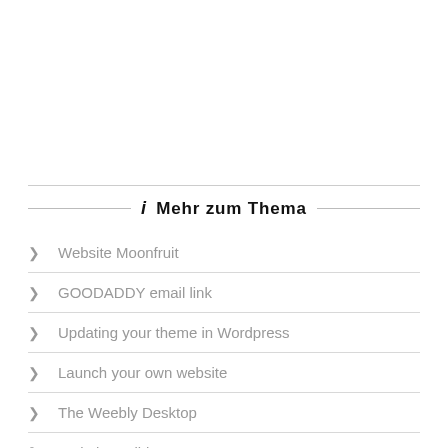i  Mehr zum Thema
Website Moonfruit
GOODADDY email link
Updating your theme in Wordpress
Launch your own website
The Weebly Desktop
Website Builder Seo
Web Dynamic Template
Prestashop Premium Topics